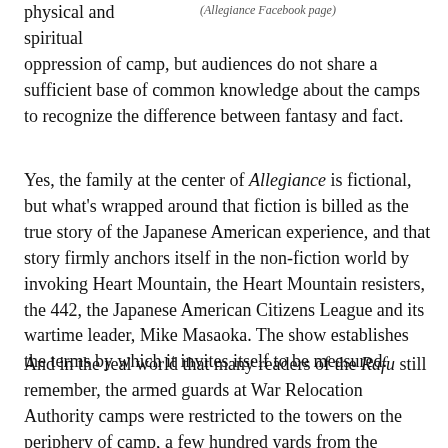(Allegiance Facebook page)
physical and spiritual oppression of camp, but audiences do not share a sufficient base of common knowledge about the camps to recognize the difference between fantasy and fact.
Yes, the family at the center of Allegiance is fictional, but what's wrapped around that fiction is billed as the true story of the Japanese American experience, and that story firmly anchors itself in the non-fiction world by invoking Heart Mountain, the Heart Mountain resisters, the 442, the Japanese American Citizens League and its wartime leader, Mike Masaoka. The show establishes the terms by which it invites itself to be measured.
And in the real world that many readers of the Rafu still remember, the armed guards at War Relocation Authority camps were restricted to the towers on the periphery of camp, a few hundred yards from the barracks. The internal security